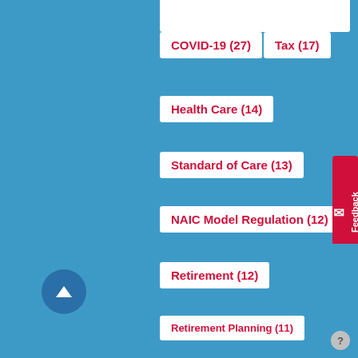COVID-19 (27)
Tax (17)
Health Care (14)
Standard of Care (13)
NAIC Model Regulation (12)
Retirement (12)
Retirement Planning (11)
Long Term Care (10)
Diversity & Inclusivity (6)
State-Run Retirement (6)
conference (6)
Reg BI (5)